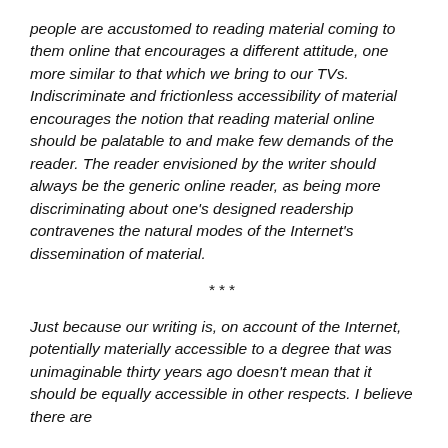people are accustomed to reading material coming to them online that encourages a different attitude, one more similar to that which we bring to our TVs. Indiscriminate and frictionless accessibility of material encourages the notion that reading material online should be palatable to and make few demands of the reader. The reader envisioned by the writer should always be the generic online reader, as being more discriminating about one’s designed readership contravenes the natural modes of the Internet’s dissemination of material.
***
Just because our writing is, on account of the Internet, potentially materially accessible to a degree that was unimaginable thirty years ago doesn’t mean that it should be equally accessible in other respects. I believe there are